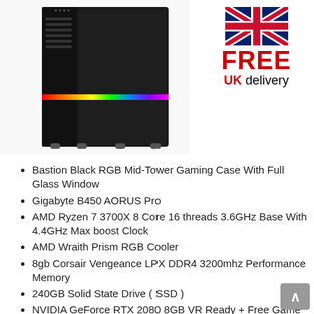[Figure (photo): Black RGB mid-tower gaming PC case with rainbow RGB strip on the front, full glass side panel, shown at an angle on white background]
[Figure (infographic): UK flag graphic with red text FREE and black/red text UK delivery below]
Bastion Black RGB Mid-Tower Gaming Case With Full Glass Window
Gigabyte B450 AORUS Pro
AMD Ryzen 7 3700X 8 Core 16 threads 3.6GHz Base With 4.4GHz Max boost Clock
AMD Wraith Prism RGB Cooler
8gb Corsair Vengeance LPX DDR4 3200mhz Performance Memory
240GB Solid State Drive ( SSD )
NVIDIA GeForce RTX 2080 8GB VR Ready + Free Game Wolfenstein